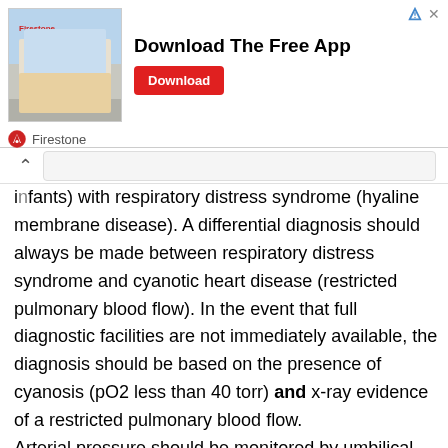[Figure (other): Advertisement banner for Firestone app download showing a store building photo, headline 'Download The Free App', a red Download button, and Firestone branding logo]
infants) with respiratory distress syndrome (hyaline membrane disease). A differential diagnosis should always be made between respiratory distress syndrome and cyanotic heart disease (restricted pulmonary blood flow). In the event that full diagnostic facilities are not immediately available, the diagnosis should be based on the presence of cyanosis (pO2 less than 40 torr) and x-ray evidence of a restricted pulmonary blood flow.
Arterial pressure should be monitored by umbilical artery catheter, auscultation or with a Doppler